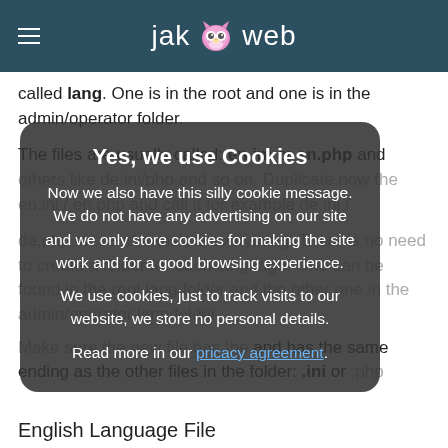jak web
called lang. One is in the root and one is in the admin/operator folder.
The files are usually called: en.ini or en.php and others like de.ini/php and so on. Duplicate now the en.ini / en.php and call it for example de.ini / de.php or... and translate everything. There is no need to create a folder for each language. One can be found in the root lang folder and the other one in the admin/operator lang folder.
[Figure (other): Cookie consent overlay with title 'Yes, we use Cookies' and text about cookie usage and link to privacy agreement]
Make sure the new file has the same ending as the other files in the folder: .ini or .php
English Language File